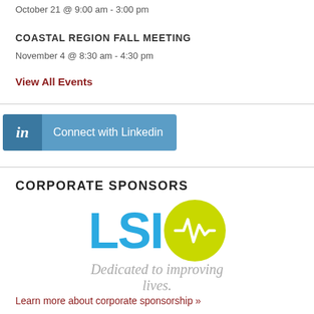October 21 @ 9:00 am - 3:00 pm
COASTAL REGION FALL MEETING
November 4 @ 8:30 am - 4:30 pm
View All Events
[Figure (other): LinkedIn Connect button with blue background and 'in' icon]
CORPORATE SPONSORS
[Figure (logo): LSI logo with blue letters 'LSI' and green circle with heartbeat line, tagline: Dedicated to improving lives.]
Learn more about corporate sponsorship »